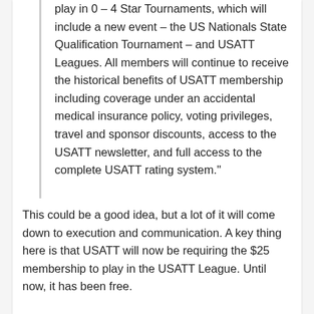play in 0 – 4 Star Tournaments, which will include a new event – the US Nationals State Qualification Tournament – and USATT Leagues. All members will continue to receive the historical benefits of USATT membership including coverage under an accidental medical insurance policy, voting privileges, travel and sponsor discounts, access to the USATT newsletter, and full access to the complete USATT rating system."
This could be a good idea, but a lot of it will come down to execution and communication. A key thing here is that USATT will now be requiring the $25 membership to play in the USATT League. Until now, it has been free.